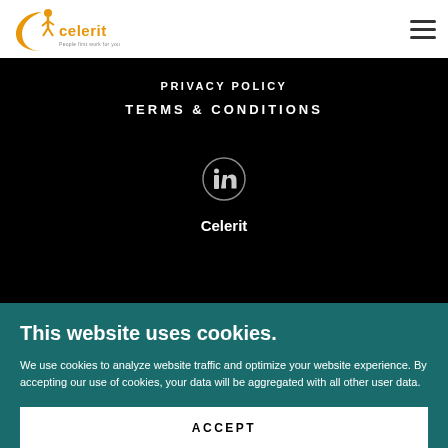[Figure (logo): Celerit company logo with orange crescent and figure icon, text 'celerit' in orange]
[Figure (other): Hamburger menu icon (three horizontal lines)]
PRIVACY POLICY
TERMS & CONDITIONS
[Figure (other): LinkedIn circle icon (in logo) on black background]
Celerit
This website uses cookies.
We use cookies to analyze website traffic and optimize your website experience. By accepting our use of cookies, your data will be aggregated with all other user data.
ACCEPT